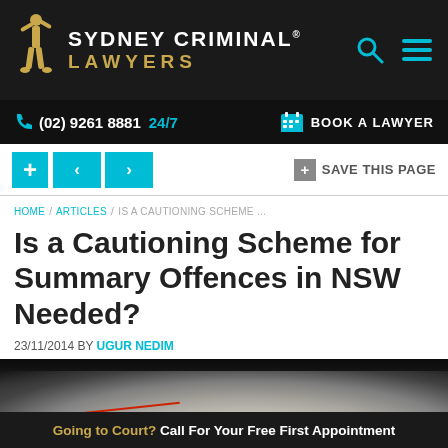[Figure (logo): Sydney Criminal Lawyers logo with gold figure and text on dark background]
(02) 9261 8881  24/7    BOOK A LAWYER
[Figure (screenshot): Navigation bar with + < > buttons and SAVE THIS PAGE option]
HOME / ARTICLES / IS A CAUTIONING SCHEME ...
Is a Cautioning Scheme for Summary Offences in NSW Needed?
23/11/2014 BY UGUR NEDIM
[Figure (photo): Close-up photo of white powder (drug imagery) on dark background with red line]
Going to Court? Call For Your Free First Appointment